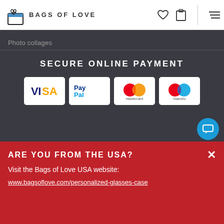BAGS OF LOVE
Photo collages
SECURE ONLINE PAYMENT
[Figure (logo): VISA payment logo - blue and gold on white card]
[Figure (logo): PayPal payment logo - blue on white card]
[Figure (logo): Mastercard payment logo - red and orange circles on white card]
[Figure (logo): Maestro payment logo - red and blue circles on white card]
Mature Content Hidden
ARE YOU FROM THE USA?
Visit the Bags of Love USA website:
www.bagsoflove.com/personalized-glasses-case